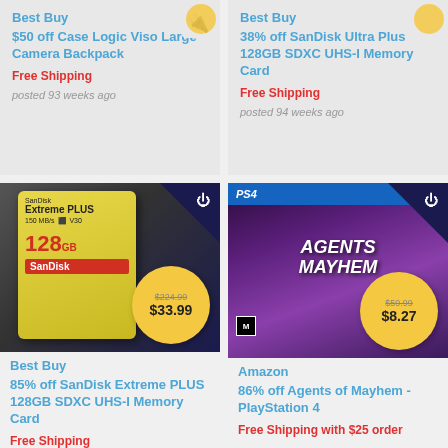Best Buy
$50 off Case Logic Viso Large Camera Backpack
Free Shipping
posted 93 weeks ago
Best Buy
38% off SanDisk Ultra Plus 128GB SDXC UHS-I Memory Card
Free Shipping
posted 94 weeks ago
[Figure (photo): SanDisk Extreme PLUS 128GB SD card product image with price badge showing $224.99 crossed out and $33.99]
Best Buy
85% off SanDisk Extreme PLUS 128GB SDXC UHS-I Memory Card
Free Shipping
[Figure (photo): Agents of Mayhem PlayStation 4 game box art with price badge showing $59.99 crossed out and $8.27]
Amazon
86% off Agents of Mayhem - PlayStation 4
Free Shipping with $25 order